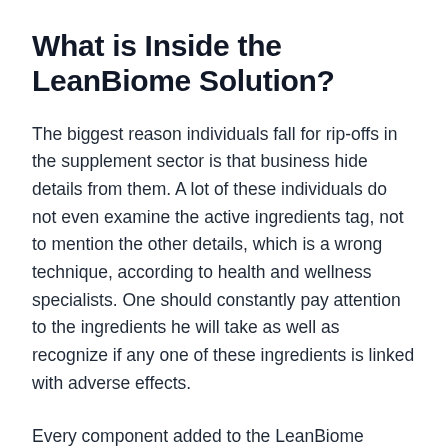What is Inside the LeanBiome Solution?
The biggest reason individuals fall for rip-offs in the supplement sector is that business hide details from them. A lot of these individuals do not even examine the active ingredients tag, not to mention the other details, which is a wrong technique, according to health and wellness specialists. One should constantly pay attention to the ingredients he will take as well as recognize if any one of these ingredients is linked with adverse effects.
Every component added to the LeanBiome formula